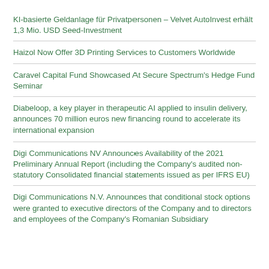KI-basierte Geldanlage für Privatpersonen – Velvet AutoInvest erhält 1,3 Mio. USD Seed-Investment
Haizol Now Offer 3D Printing Services to Customers Worldwide
Caravel Capital Fund Showcased At Secure Spectrum's Hedge Fund Seminar
Diabeloop, a key player in therapeutic AI applied to insulin delivery, announces 70 million euros new financing round to accelerate its international expansion
Digi Communications NV Announces Availability of the 2021 Preliminary Annual Report (including the Company's audited non-statutory Consolidated financial statements issued as per IFRS EU)
Digi Communications N.V. Announces that conditional stock options were granted to executive directors of the Company and to directors and employees of the Company's Romanian Subsidiary